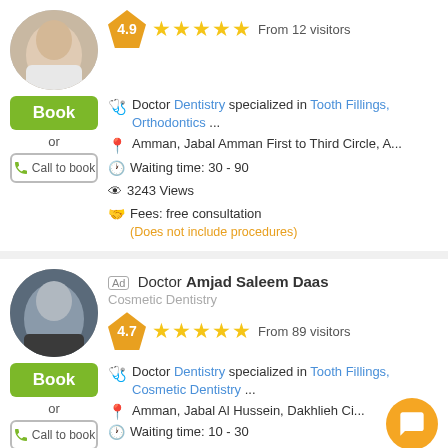[Figure (photo): Doctor avatar photo (partial, cropped circle), first listing]
4.9 ★★★★★ From 12 visitors
Book
or
Call to book
Doctor Dentistry specialized in Tooth Fillings, Orthodontics ...
Amman, Jabal Amman First to Third Circle, A...
Waiting time: 30 - 90
3243 Views
Fees: free consultation (Does not include procedures)
[Figure (photo): Doctor Amjad Saleem Daas profile photo in circle]
Ad Doctor Amjad Saleem Daas
Cosmetic Dentistry
4.7 ★★★★★ From 89 visitors
Book
or
Call to book
Doctor Dentistry specialized in Tooth Fillings, Cosmetic Dentistry ...
Amman, Jabal Al Hussein, Dakhlieh Ci...
Waiting time: 10 - 30